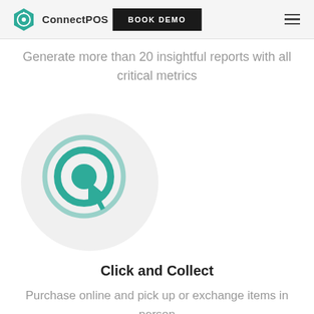ConnectPOS | BOOK DEMO
Generate more than 20 insightful reports with all critical metrics
[Figure (illustration): Circular icon with a teal click/cursor icon (concentric signal rings with a pointer cursor arrow) on a light grey circle background]
Click and Collect
Purchase online and pick up or exchange items in person